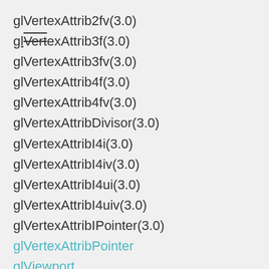glVertexAttrib2fv(3.0)
glVertexAttrib3f(3.0)
glVertexAttrib3fv(3.0)
glVertexAttrib4f(3.0)
glVertexAttrib4fv(3.0)
glVertexAttribDivisor(3.0)
glVertexAttribI4i(3.0)
glVertexAttribI4iv(3.0)
glVertexAttribI4ui(3.0)
glVertexAttribI4uiv(3.0)
glVertexAttribIPointer(3.0)
glVertexAttribPointer
glViewport
glWaitSync(3.0)